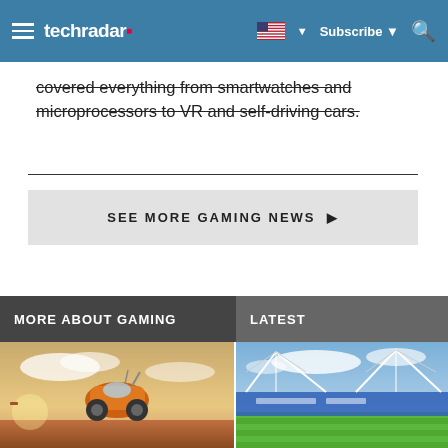techradar — Subscribe — Search — Language selector
covered everything from smartwatches and microprocessors to VR and self-driving cars.
SEE MORE GAMING NEWS ▶
MORE ABOUT GAMING
LATEST
[Figure (photo): A flying orange vehicle / car in a desert sky scene, action game screenshot]
[Figure (photo): A stadium with white roof structure and green pitch, sports venue photo]